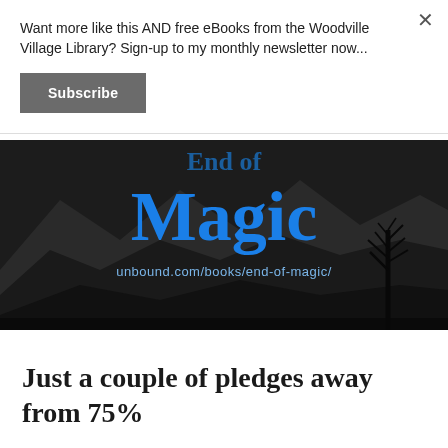Want more like this AND free eBooks from the Woodville Village Library? Sign-up to my monthly newsletter now...
Subscribe
[Figure (illustration): Dark fantasy book banner with mountains and bare tree silhouette. Title reads 'End of Magic' in blue text with URL unbound.com/books/end-of-magic/]
Just a couple of pledges away from 75%